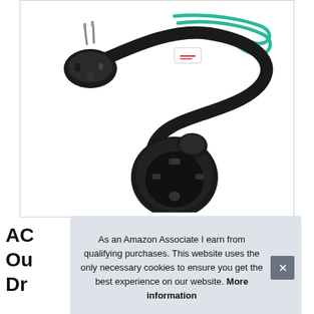[Figure (photo): Product photo of a dryer power cord adapter with a 3-prong plug on one end, black cable with green ground wires, and a 4-prong round outlet receptacle on the other end, shown against a white background.]
AC... Ou... Dr...
As an Amazon Associate I earn from qualifying purchases. This website uses the only necessary cookies to ensure you get the best experience on our website. More information